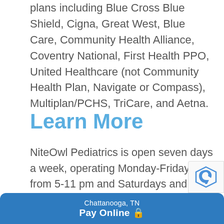plans including Blue Cross Blue Shield, Cigna, Great West, Blue Care, Community Health Alliance, Coventry National, First Health PPO, United Healthcare (not Community Health Plan, Navigate or Compass), Multiplan/PCHS, TriCare, and Aetna.
Learn More
NiteOwl Pediatrics is open seven days a week, operating Monday-Friday from 5-11 pm and Saturdays and Sundays from 3-11 pm. Their office phone number is (423) 648-NITE (6483). The new address will be 2372 Lifestyle Way, Suite 152, Chattanooga, TN 37421.
Chattanooga, TN Pay Online